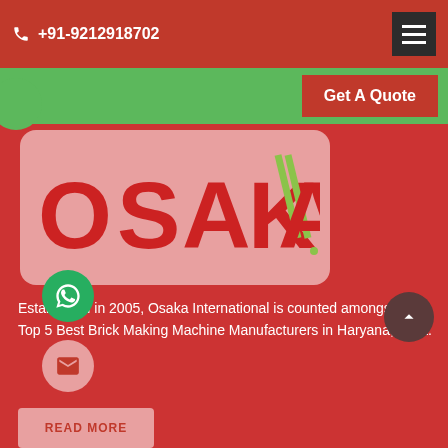+91-9212918702
[Figure (logo): Osaka International company logo — bold red OSAKA text on pink/light red rounded rectangle background, with green diagonal slash marks on the letter A]
Established in 2005, Osaka International is counted amongst the Top 5 Best Brick Making Machine Manufacturers in Haryana, India.
READ MORE